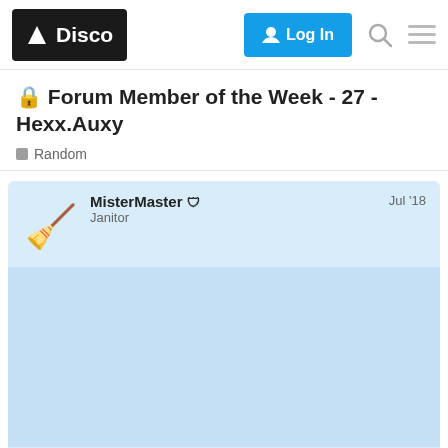Disco — Log In
🔒 Forum Member of the Week - 27 - Hexx.Auxy
Random
MisterMaster 🛡 Janitor — Jul '18
[Figure (photo): Janitor emoji avatar with blue clothing holding broom and mop]
Featured Auxy Artist #27:
@anon86704580
Hexx is from joining US Au...
1 / 51